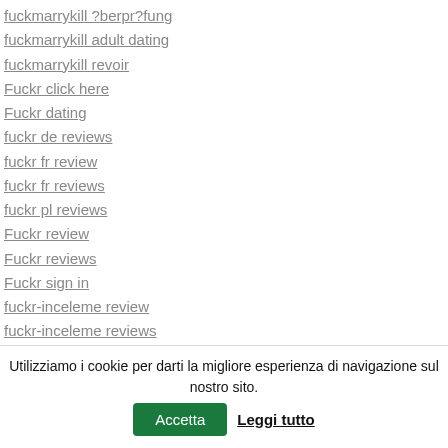fuckmarrykill ?berpr?fung
fuckmarrykill adult dating
fuckmarrykill revoir
Fuckr click here
Fuckr dating
fuckr de reviews
fuckr fr review
fuckr fr reviews
fuckr pl reviews
Fuckr review
Fuckr reviews
Fuckr sign in
fuckr-inceleme review
fuckr-inceleme reviews
fuckswipe apk premium
fuckswipe cs review
Utilizziamo i cookie per darti la migliore esperienza di navigazione sul nostro sito. Accetta Leggi tutto